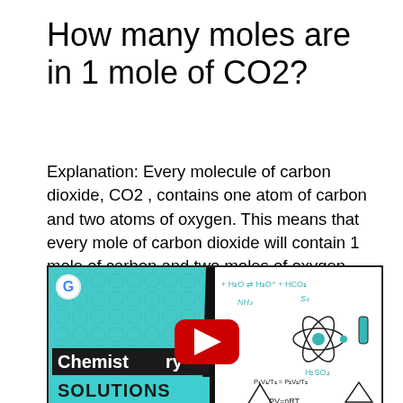How many moles are in 1 mole of CO2?
Explanation: Every molecule of carbon dioxide, CO2 , contains one atom of carbon and two atoms of oxygen. This means that every mole of carbon dioxide will contain 1 mole of carbon and two moles of oxygen.
[Figure (screenshot): YouTube video thumbnail for 'Chemistry Solutions' channel showing a teal hexagonal background on the left with 'Chemistry SOLUTIONS' text, and white background on the right with chemistry equations and diagrams including H3O, H3O+, HCO3, NH3, S8, atom diagram, test tube, H2SO4, PV=nRT, and other chemistry symbols. A red YouTube play button is overlaid in the center.]